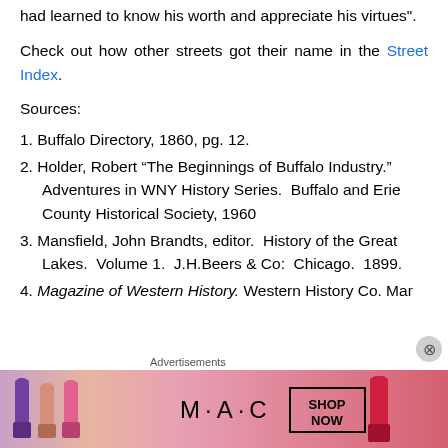had learned to know his worth and appreciate his virtues”.
Check out how other streets got their name in the Street Index.
Sources:
1. Buffalo Directory, 1860, pg. 12.
2. Holder, Robert “The Beginnings of Buffalo Industry.” Adventures in WNY History Series.  Buffalo and Erie County Historical Society, 1960
3. Mansfield, John Brandts, editor.  History of the Great Lakes.  Volume 1.  J.H.Beers & Co:  Chicago.  1899.
4. Magazine of Western History. Western History Co. Mar
[Figure (infographic): M·A·C cosmetics advertisement banner with lipsticks in purple, peach, and pink colors, MAC logo, and SHOP NOW button box]